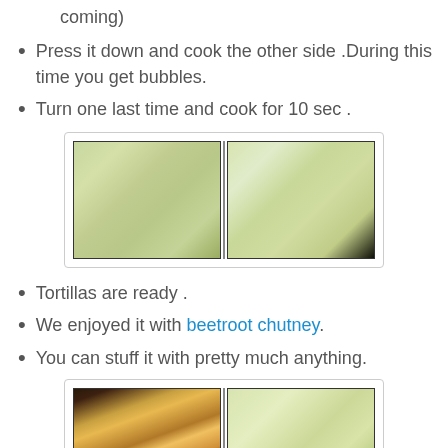coming)
Press it down and cook the other side .During this time you get bubbles.
Turn one last time and cook for 10 sec .
[Figure (photo): Two side-by-side photos of flat tortillas on a dark surface, showing both sides of a cooked tortilla]
Tortillas are ready .
We enjoyed it with beetroot chutney.
You can stuff it with pretty much anything.
[Figure (photo): Two side-by-side photos: left shows a decorative plate with autumn leaves and a tortilla, right shows a flat tortilla]